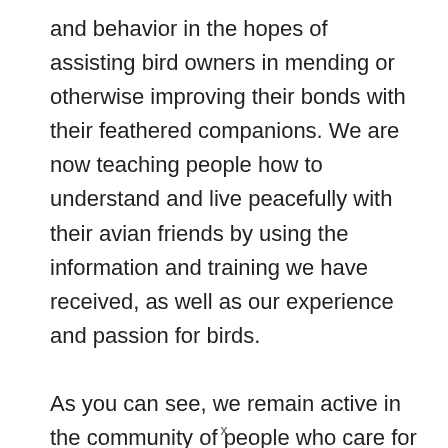and behavior in the hopes of assisting bird owners in mending or otherwise improving their bonds with their feathered companions. We are now teaching people how to understand and live peacefully with their avian friends by using the information and training we have received, as well as our experience and passion for birds.

As you can see, we remain active in the community of people who care for birds in order to be abreast of new goods, procedures, medical advancements, and approaches to care. In our pursuit of perfection, we make it a habit to visit conventions, trade exhibits, workshops, and seminars on a regular basis. We really
x